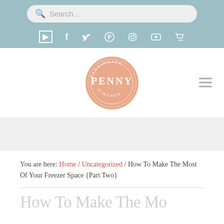Search... [search bar]
Social icons: bookmark, facebook, twitter, pinterest, instagram, youtube, cart
[Figure (logo): Passionate Penny Pincher circular logo in salmon/peach color with white text]
You are here: Home / Uncategorized / How To Make The Most Of Your Freezer Space {Part Two}
How To Make The Mo...